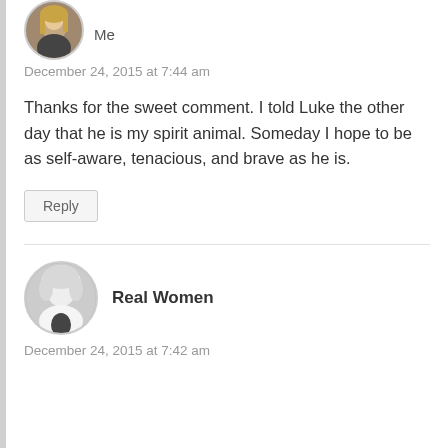[Figure (photo): Circular avatar of a woman with blonde hair, partially cropped at top of page]
Me
December 24, 2015 at 7:44 am
Thanks for the sweet comment. I told Luke the other day that he is my spirit animal. Someday I hope to be as self-aware, tenacious, and brave as he is.
Reply
[Figure (photo): Circular avatar of a woman with light hair wearing white jacket, black and white photo]
Real Women
December 24, 2015 at 7:42 am